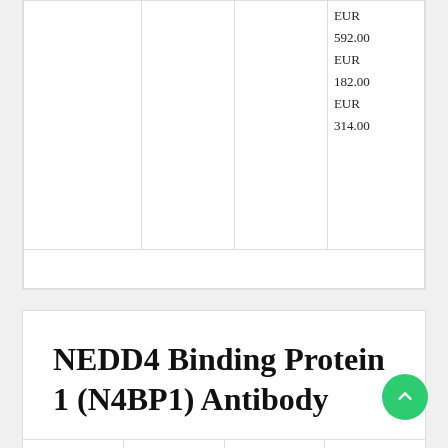|  |  |  | EUR
592.00
EUR
182.00
EUR
314.00 |
NEDD4 Binding Protein 1 (N4BP1) Antibody
| abx331065- | Abbexa | 100 | EUR |